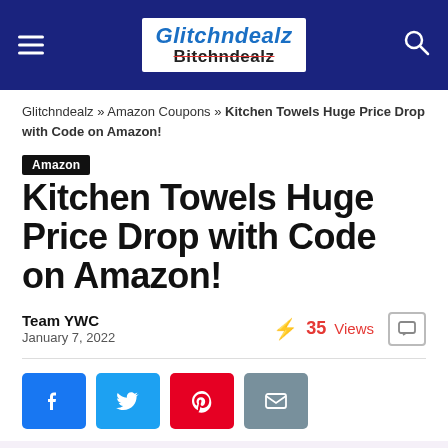Glitchndealz / Bitchndealz
Glitchndealz » Amazon Coupons » Kitchen Towels Huge Price Drop with Code on Amazon!
Amazon
Kitchen Towels Huge Price Drop with Code on Amazon!
Team YWC
January 7, 2022
35 Views
[Figure (infographic): Social share buttons: Facebook (blue), Twitter (light blue), Pinterest (red), Email (grey-blue)]
[Figure (photo): Purple kitchen towels stacked, partially visible at bottom of page]